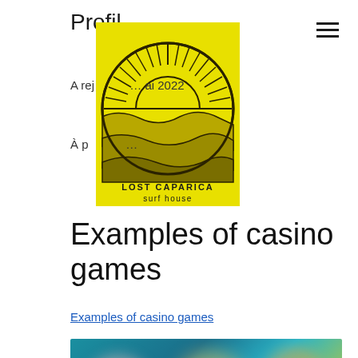Profil
[Figure (logo): Lost Caparica Surf House logo — yellow circular badge with sun rays and landscape illustration, text 'LOST CAPARICA surf house']
A rej… ai 2022
À p…
Examples of casino games
Examples of casino games
[Figure (screenshot): Blurred screenshot of casino games interface with colorful game thumbnails on a teal/dark background]